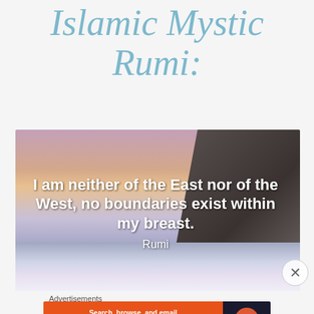In the words of Islamic Mystic Rumi:
[Figure (illustration): Landscape photo with sunset sky (pink/orange gradient), rocky cliff on the right, snowy or icy water at the bottom. White bold text overlaid reads: 'I am neither of the East nor of the West, no boundaries exist within my breast.' with attribution 'Rumi' below.]
Advertisements
[Figure (screenshot): DuckDuckGo advertisement banner. Left orange section: 'Search, browse, and email with more privacy. All in One Free App'. Right dark section: DuckDuckGo duck logo and name.]